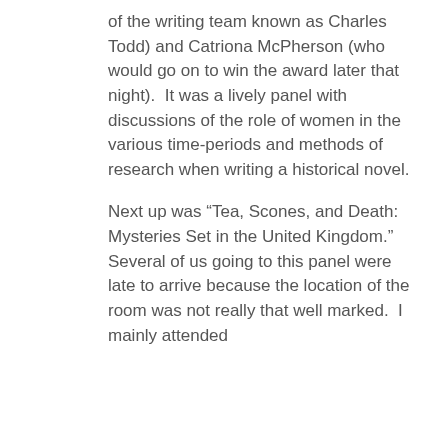of the writing team known as Charles Todd) and Catriona McPherson (who would go on to win the award later that night).  It was a lively panel with discussions of the role of women in the various time-periods and methods of research when writing a historical novel.
Next up was “Tea, Scones, and Death: Mysteries Set in the United Kingdom.”  Several of us going to this panel were late to arrive because the location of the room was not really that well marked.  I mainly attended